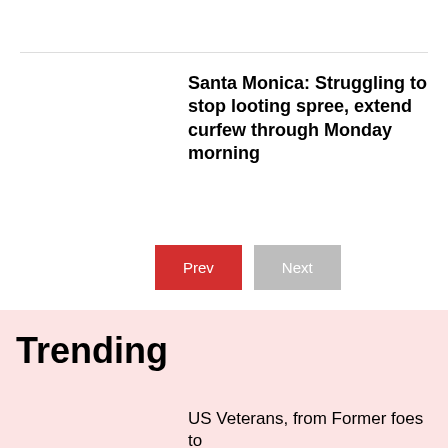Santa Monica: Struggling to stop looting spree, extend curfew through Monday morning
Prev   Next
Trending
US Veterans, from Former foes to